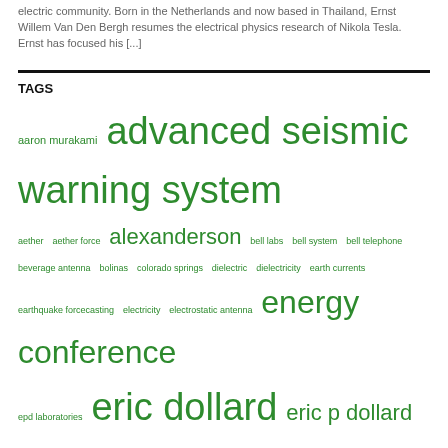electric community. Born in the Netherlands and now based in Thailand, Ernst Willem Van Den Bergh resumes the electrical physics research of Nikola Tesla. Ernst has focused his [...]
TAGS
aaron murakami advanced seismic warning system aether aether force alexanderson bell labs bell system bell telephone beverage antenna bolinas colorado springs dielectric dielectricity earth currents earthquake forcecasting electricity electrostatic antenna energy conference epd laboratories eric dollard eric p dollard extraluminal harold beverage interview longitudinal mohamed youssef nikola tesla polyphase rayam azab youssef ray savant solar flux steinmetz steve mcgreevy techz techzombie telephone telephone exchange telluric telluric currents tesla thomas joseph brown transmission versor algebra western electric manufacturing wireless giant of the pacific